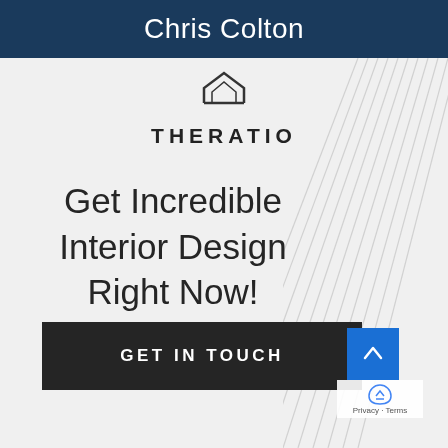Chris Colton
[Figure (logo): Theratio brand logo icon — a geometric house/diamond outline shape in dark outline style]
THERATIO
Get Incredible Interior Design Right Now!
[Figure (illustration): Decorative diagonal white lines fanning out on the right side of the content area, suggesting architectural or interior design elements]
GET IN TOUCH
[Figure (other): Blue scroll-to-top button with upward arrow, and reCAPTCHA badge with Privacy and Terms links]